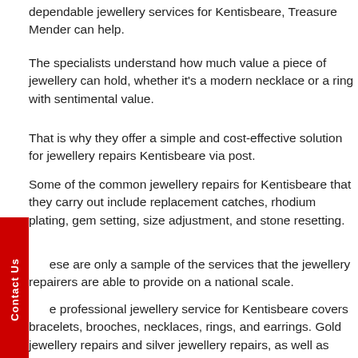dependable jewellery services for Kentisbeare, Treasure Mender can help.
The specialists understand how much value a piece of jewellery can hold, whether it's a modern necklace or a ring with sentimental value.
That is why they offer a simple and cost-effective solution for jewellery repairs Kentisbeare via post.
Some of the common jewellery repairs for Kentisbeare that they carry out include replacement catches, rhodium plating, gem setting, size adjustment, and stone resetting.
These are only a sample of the services that the jewellery repairers are able to provide on a national scale.
The professional jewellery service for Kentisbeare covers bracelets, brooches, necklaces, rings, and earrings. Gold jewellery repairs and silver jewellery repairs, as well as services for many other materials are also covered.